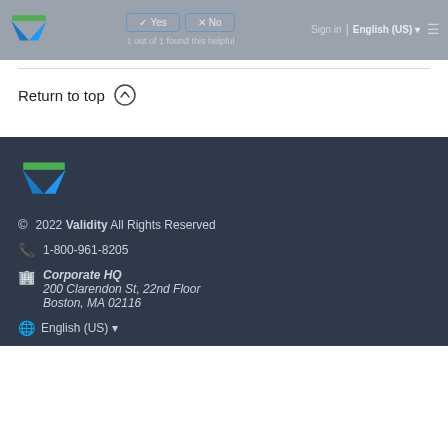[Figure (logo): Validity V logo in header (small, gray background)]
✓ Yes   ×  No
Sign in | English (US) ▾ ≡
1 out of 1 found this helpful
Return to top ↑
[Figure (logo): Validity V logo in dark footer]
© 2022 Validity All Rights Reserved
1-800-961-8205
Corporate HQ
200 Clarendon St, 22nd Floor
Boston, MA 02116
English (US) ▾